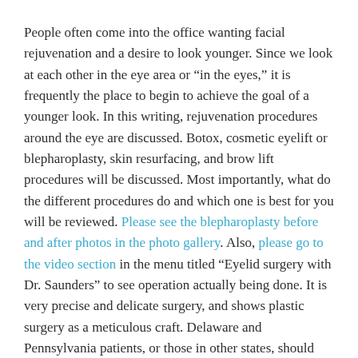People often come into the office wanting facial rejuvenation and a desire to look younger. Since we look at each other in the eye area or “in the eyes,” it is frequently the place to begin to achieve the goal of a younger look. In this writing, rejuvenation procedures around the eye are discussed. Botox, cosmetic eyelift or blepharoplasty, skin resurfacing, and brow lift procedures will be discussed. Most importantly, what do the different procedures do and which one is best for you will be reviewed. Please see the blepharoplasty before and after photos in the photo gallery. Also, please go to the video section in the menu titled “Eyelid surgery with Dr. Saunders” to see operation actually being done. It is very precise and delicate surgery, and shows plastic surgery as a meticulous craft. Delaware and Pennsylvania patients, or those in other states, should please schedule a consultation to discuss their specific desires.
Botox and Dysport are medicines that target the muscles of the face and eye areas. They paralyze muscles which can sound scary, but they are exceedingly safe! They are used in